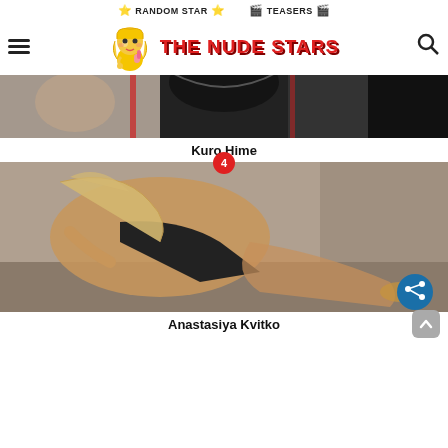⭐ RANDOM STAR ⭐  🎬 TEASERS 🎬
[Figure (logo): The Nude Stars website logo with mascot illustration and red bold text]
[Figure (photo): Cropped photo of Kuro Hime, dark-haired woman in black outfit]
Kuro Hime
[Figure (photo): Photo of Anastasiya Kvitko, blonde woman posing in black outfit with fishnet stockings, badge '4', share button]
Anastasiya Kvitko